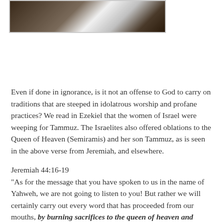[Figure (photo): Partial photo showing what appears to be animals or figures, cropped at top of page]
Even if done in ignorance, is it not an offense to God to carry on traditions that are steeped in idolatrous worship and profane practices? We read in Ezekiel that the women of Israel were weeping for Tammuz. The Israelites also offered oblations to the Queen of Heaven (Semiramis) and her son Tammuz, as is seen in the above verse from Jeremiah, and elsewhere.
Jeremiah 44:16-19
"As for the message that you have spoken to us in the name of Yahweh, we are not going to listen to you! But rather we will certainly carry out every word that has proceeded from our mouths, by burning sacrifices to the queen of heaven and pouring out drink offerings to her, just as we